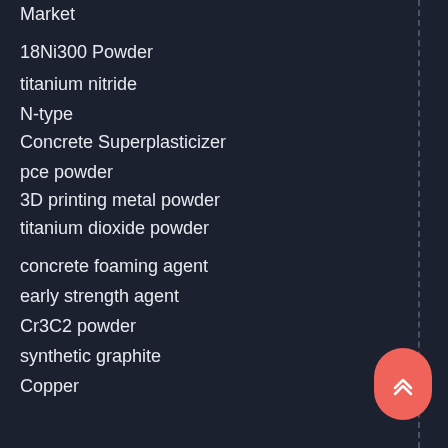Market
18Ni300 Powder
titanium nitride
N-type
Concrete Superplasticizer
pce powder
3D printing metal powder
titanium dioxide powder
concrete foaming agent
early strength agent
Cr3C2 powder
synthetic graphite
Copper